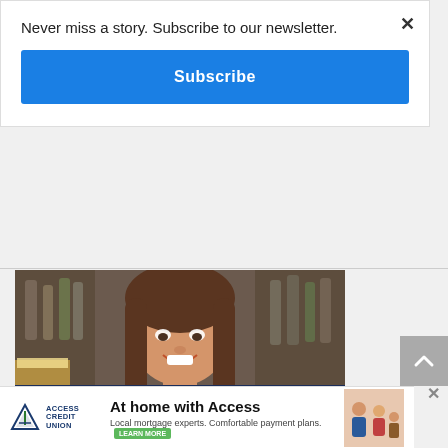Never miss a story. Subscribe to our newsletter.
Subscribe
[Figure (photo): Smiling woman with long brown hair wearing a dark t-shirt with green logo, sitting at a bar with a beer glass visible on the left and blurred bottles in the background]
Manitoba Hotels
[Figure (infographic): Access Credit Union advertisement banner reading 'At home with Access' with tagline 'Local mortgage experts. Comfortable payment plans.' and a family photo]